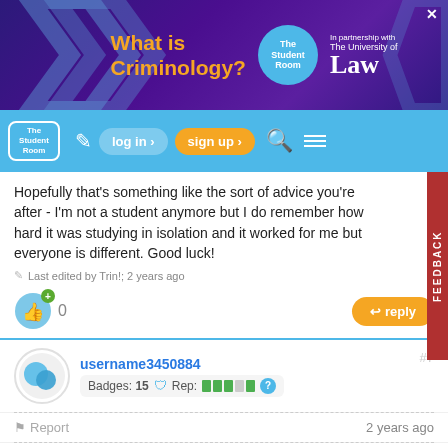[Figure (illustration): Advertisement banner for 'What is Criminology?' in partnership with The University of Law and The Student Room, purple background with arrow chevron shapes]
[Figure (screenshot): The Student Room navigation bar with logo, edit icon, log in button, sign up button, search icon, and menu icon on a light blue background]
Hopefully that's something like the sort of advice you're after - I'm not a student anymore but I do remember how hard it was studying in isolation and it worked for me but everyone is different. Good luck!
Last edited by Trin!; 2 years ago
0
reply
FEEDBACK
username3450884
Badges: 15   Rep:   ?
#7
Report
2 years ago
I was feeling the same way a few weeks ago. The results/analysis part felt really hard to write because I couldn't collect all the data I had intended to before it got too late, so it felt a mix of...